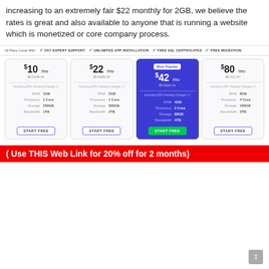increasing to an extremely fair $22 monthly for 2GB, we believe the rates is great and also available to anyone that is running a website which is monetized or core company process.
[Figure (infographic): Pricing table showing 4 hosting plans: $10/mo (1GB RAM, 1 Core, 250GB Storage, 1TB Bandwidth), $22/mo (2GB RAM, 1 Core, 500GB Storage, 2TB Bandwidth), $42/mo Most Popular (4GB RAM, 2 Core, 80GB Storage, 4TB Bandwidth), $80/mo (8GB RAM, 4 Core, 160GB Storage, 5TB Bandwidth). Features bar: 24/7 Expert Support, Unlimited App Installation, Free SSL Certificates, Free Migration.]
( Use THIS Web Link for 20% off for 2 months)